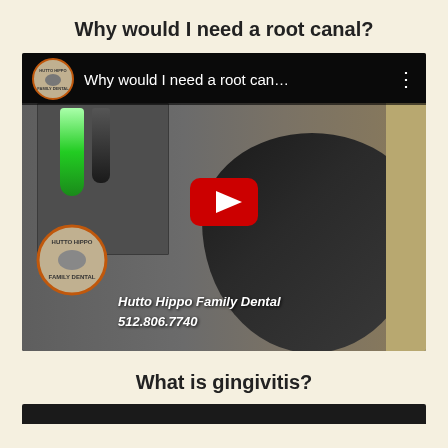Why would I need a root canal?
[Figure (screenshot): YouTube video thumbnail showing a man in a dental office with the title 'Why would I need a root can...' and Hutto Hippo Family Dental logo. A red YouTube play button is centered on the video.]
Hutto Hippo Family Dental 512.806.7740
What is gingivitis?